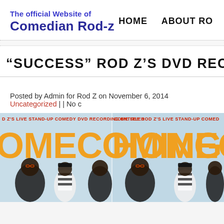The official Website of Comedian Rod-z | HOME | ABOUT ROD
“SUCCESS” ROD Z’S DVD RECORDING GOES
Posted by Admin for Rod Z on November 6, 2014 Uncategorized | | No c
[Figure (photo): Banner image showing Rod Z's live stand-up comedy DVD recording entitled HOMECOMING, with people in football gear on one side and the event promotion on the other side. Text reads: D Z’S LIVE STAND-UP COMEDY DVD RECORDING ENTITLED | COME SEE ROD Z’S LIVE STAND-UP COMED | OMECOMING HOMECO]